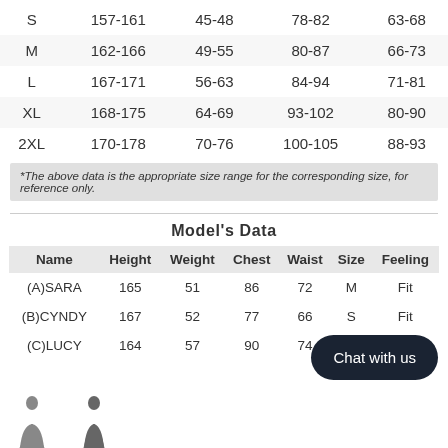|  |  |  |  |  |
| --- | --- | --- | --- | --- |
| S | 157-161 | 45-48 | 78-82 | 63-68 |
| M | 162-166 | 49-55 | 80-87 | 66-73 |
| L | 167-171 | 56-63 | 84-94 | 71-81 |
| XL | 168-175 | 64-69 | 93-102 | 80-90 |
| 2XL | 170-178 | 70-76 | 100-105 | 88-93 |
*The above data is the appropriate size range for the corresponding size, for reference only.
Model's Data
| Name | Height | Weight | Chest | Waist | Size | Feeling |
| --- | --- | --- | --- | --- | --- | --- |
| (A)SARA | 165 | 51 | 86 | 72 | M | Fit |
| (B)CYNDY | 167 | 52 | 77 | 66 | S | Fit |
| (C)LUCY | 164 | 57 | 90 | 74 |  |  |
[Figure (illustration): Two small model figure silhouettes at bottom of page]
Chat with us